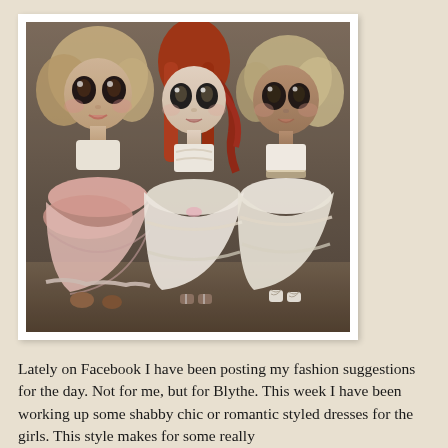[Figure (photo): Three Blythe dolls with large eyes posed together, wearing shabby chic lace and tulle dresses in pink and cream tones. The left doll has curly blonde hair and a pink layered dress, the center doll has long red hair and a cream lace dress, and the right doll has blonde curly hair and a white/cream dress. They have exaggerated large eyes. Photo has a vintage, warm-toned look.]
Lately on Facebook I have been posting my fashion suggestions for the day. Not for me, but for Blythe. This week I have been working up some shabby chic or romantic styled dresses for the girls. This style makes for some really